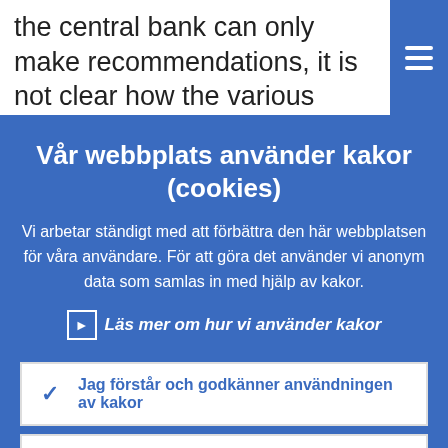the central bank can only make recommendations, it is not clear how the various national authorities would react a
Vår webbplats använder kakor (cookies)
Vi arbetar ständigt med att förbättra den här webbplatsen för våra användare. För att göra det använder vi anonym data som samlas in med hjälp av kakor.
Läs mer om hur vi använder kakor
Jag förstår och godkänner användningen av kakor
Jag godkänner inte användningen av kakor